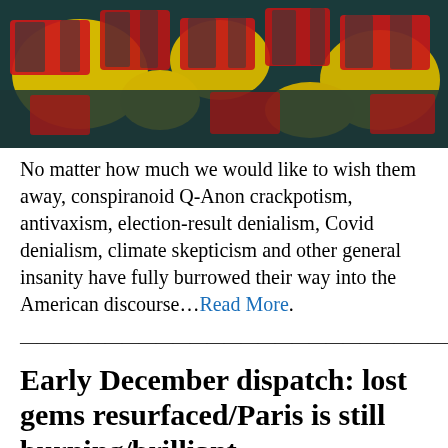[Figure (illustration): Abstract painted artwork with bold red, dark teal/black, and yellow brushstrokes forming stylized text or shapes]
No matter how much we would like to wish them away, conspiranoid Q-Anon crackpotism, antivaxism, election-result denialism, Covid denialism, climate skepticism and other general insanity have fully burrowed their way into the American discourse…Read More.
——————————————————————————————————
Early December dispatch: lost gems resurfaced/Paris is still burning/brilliant